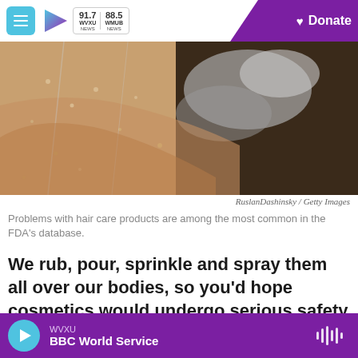WVXU 91.7 NEWS | WMUB 88.5 NEWS | Donate
[Figure (photo): Close-up of a person washing their hair with shampoo, water droplets visible on skin and dark foamy hair]
RuslanDashinsky / Getty Images
Problems with hair care products are among the most common in the FDA's database.
We rub, pour, sprinkle and spray them all over our bodies, so you'd hope cosmetics would undergo serious safety oversight before they get into our
WVXU
BBC World Service